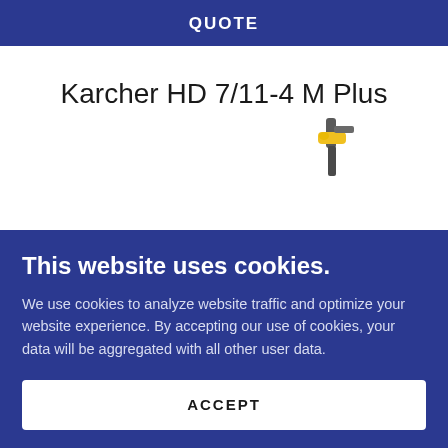QUOTE
Karcher HD 7/11-4 M Plus
[Figure (photo): Partial image of a Karcher HD 7/11-4 M Plus pressure washer gun/lance handle in yellow and grey, partially visible at top of cookie consent overlay]
This website uses cookies.
We use cookies to analyze website traffic and optimize your website experience. By accepting our use of cookies, your data will be aggregated with all other user data.
ACCEPT